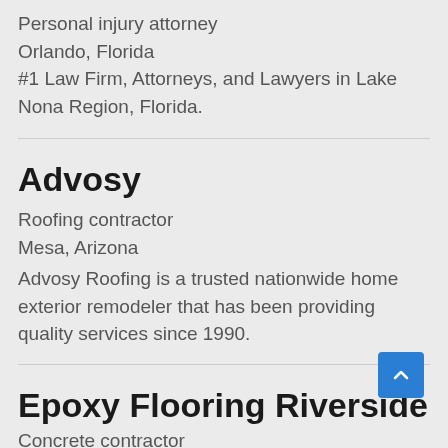Personal injury attorney
Orlando, Florida
#1 Law Firm, Attorneys, and Lawyers in Lake Nona Region, Florida.
Advosy
Roofing contractor
Mesa, Arizona
Advosy Roofing is a trusted nationwide home exterior remodeler that has been providing quality services since 1990.
Epoxy Flooring Riverside
Concrete contractor